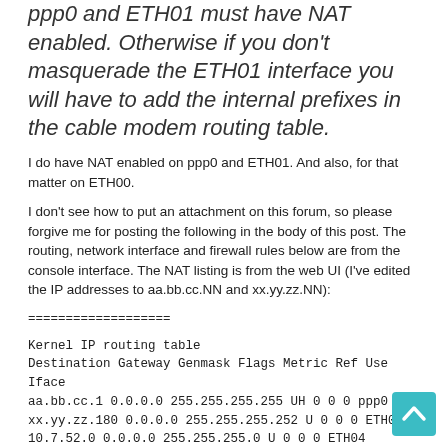ppp0 and ETH01 must have NAT enabled. Otherwise if you don't masquerade the ETH01 interface you will have to add the internal prefixes in the cable modem routing table.
I do have NAT enabled on ppp0 and ETH01. And also, for that matter on ETH00.
I don't see how to put an attachment on this forum, so please forgive me for posting the following in the body of this post. The routing, network interface and firewall rules below are from the console interface. The NAT listing is from the web UI (I've edited the IP addresses to aa.bb.cc.NN and xx.yy.zz.NN):
===================
Kernel IP routing table
Destination Gateway Genmask Flags Metric Ref Use Iface
aa.bb.cc.1 0.0.0.0 255.255.255.255 UH 0 0 0 ppp0
xx.yy.zz.180 0.0.0.0 255.255.255.252 U 0 0 0 ETH01
10.7.52.0 0.0.0.0 255.255.255.0 U 0 0 0 ETH04
10.7.53.0 0.0.0.0 255.255.255.0 U 0 0 0 ETH03